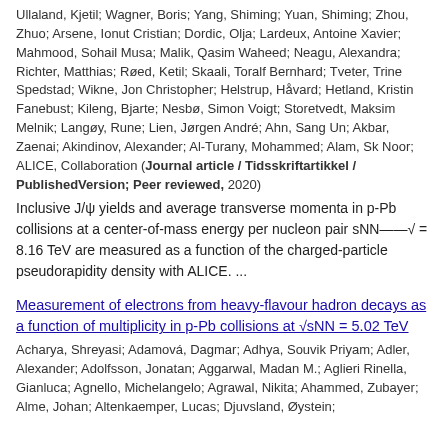Ullaland, Kjetil; Wagner, Boris; Yang, Shiming; Yuan, Shiming; Zhou, Zhuo; Arsene, Ionut Cristian; Dordic, Olja; Lardeux, Antoine Xavier; Mahmood, Sohail Musa; Malik, Qasim Waheed; Neagu, Alexandra; Richter, Matthias; Røed, Ketil; Skaali, Toralf Bernhard; Tveter, Trine Spedstad; Wikne, Jon Christopher; Helstrup, Håvard; Hetland, Kristin Fanebust; Kileng, Bjarte; Nesbø, Simon Voigt; Storetvedt, Maksim Melnik; Langøy, Rune; Lien, Jørgen André; Ahn, Sang Un; Akbar, Zaenai; Akindinov, Alexander; Al-Turany, Mohammed; Alam, Sk Noor; ALICE, Collaboration (Journal article / Tidsskriftartikkel / PublishedVersion; Peer reviewed, 2020)
Inclusive J/ψ yields and average transverse momenta in p-Pb collisions at a center-of-mass energy per nucleon pair sNN−−√ = 8.16 TeV are measured as a function of the charged-particle pseudorapidity density with ALICE. ...
Measurement of electrons from heavy-flavour hadron decays as a function of multiplicity in p-Pb collisions at √sNN = 5.02 TeV
Acharya, Shreyasi; Adamová, Dagmar; Adhya, Souvik Priyam; Adler, Alexander; Adolfsson, Jonatan; Aggarwal, Madan M.; Aglieri Rinella, Gianluca; Agnello, Michelangelo; Agrawal, Nikita; Ahammed, Zubayer; Alme, Johan; Altenkaemper, Lucas; Djuvsland, Øystein;